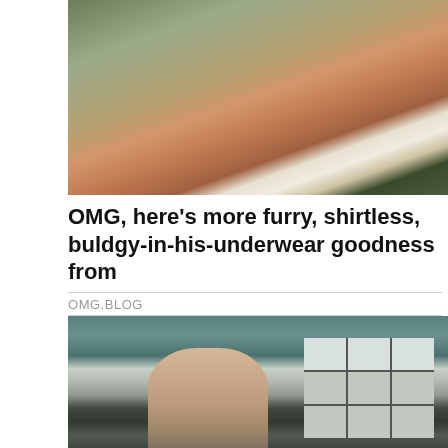[Figure (photo): Shirtless tattooed man outdoors with plants in background, wearing white underwear]
OMG, here's more furry, shirtless, buldgy-in-his-underwear goodness from
OMG.BLOG
[Figure (photo): Shirtless man bending over in a teal/green room with decorative tile window behind him]